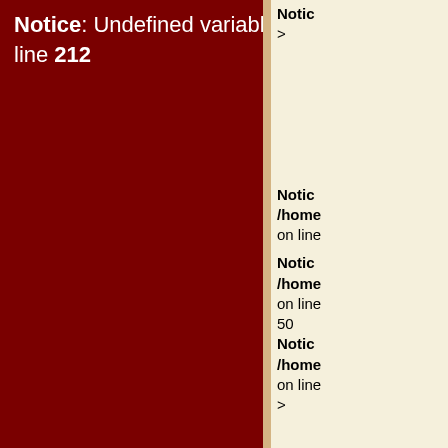Notice: Undefined variable: menue in /home/bible/public_html/searchhelp.php on line 212
Notice > Notice /home on line Notice /home on line 50 Notice /home on line >